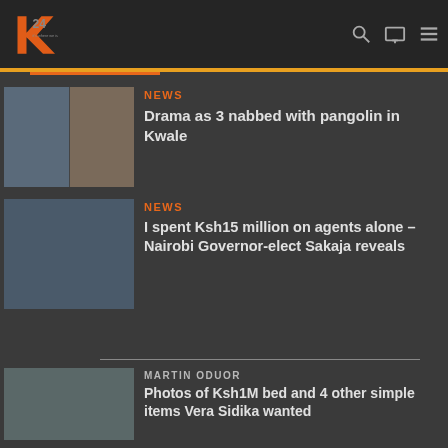[Figure (logo): K24 TV logo with stylized K in orange/red and 24 in grey text]
[Figure (photo): Two images side by side: people crouching and a pangolin ball]
NEWS
Drama as 3 nabbed with pangolin in Kwale
[Figure (photo): Man speaking at microphone wearing blue cap and yellow shirt]
NEWS
I spent Ksh15 million on agents alone – Nairobi Governor-elect Sakaja reveals
[Figure (photo): Close-up shot of colorful items, partially visible]
MARTIN ODUOR
Photos of Ksh1M bed and 4 other simple items Vera Sidika wanted...